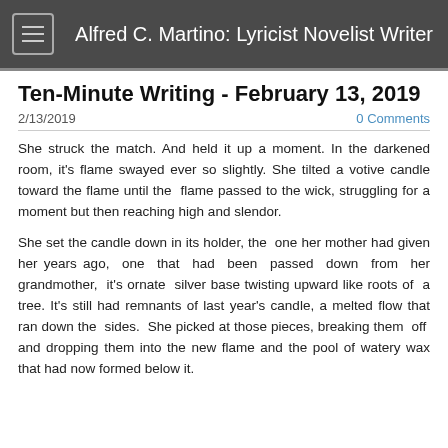Alfred C. Martino: Lyricist Novelist Writer
Ten-Minute Writing - February 13, 2019
2/13/2019
0 Comments
She struck the match. And held it up a moment. In the darkened room, it's flame swayed ever so slightly. She tilted a votive candle toward the flame until the flame passed to the wick, struggling for a moment but then reaching high and slendor.
She set the candle down in its holder, the one her mother had given her years ago, one that had been passed down from her grandmother, it's ornate silver base twisting upward like roots of a tree. It's still had remnants of last year's candle, a melted flow that ran down the sides. She picked at those pieces, breaking them off and dropping them into the new flame and the pool of watery wax that had now formed below it.